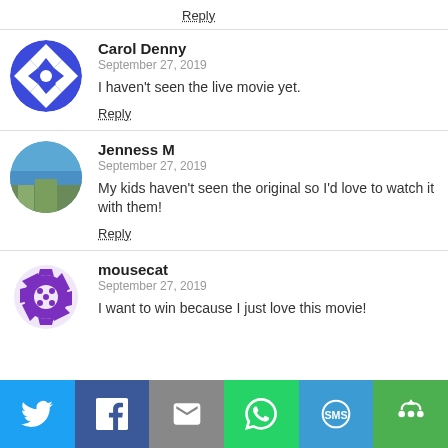Reply
Carol Denny
September 27, 2019
I haven't seen the live movie yet.
Reply
Jenness M
September 27, 2019
My kids haven't seen the original so I'd love to watch it with them!
Reply
mousecat
September 27, 2019
I want to win because I just love this movie!
[Figure (infographic): Social share bar with Twitter, Facebook, Email, WhatsApp, SMS, and More buttons]